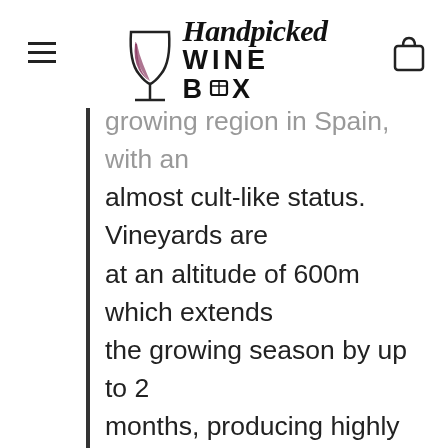Handpicked WINE BOX
growing region in Spain, with an almost cult-like status. Vineyards are at an altitude of 600m which extends the growing season by up to 2 months, producing highly concentrated, long-lived and deeply coloured wines. Founded in 1996, Pago de los Capellanes owns 125ha of vineyards nestled around 8 ancient walnut trees making up 35 different plots, each of which are vinified separately in their state of the art